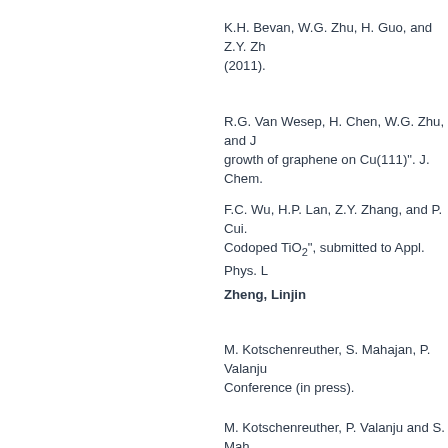K.H. Bevan, W.G. Zhu, H. Guo, and Z.Y. Zh… (2011).
R.G. Van Wesep, H. Chen, W.G. Zhu, and … growth of graphene on Cu(111)". J. Chem.…
F.C. Wu, H.P. Lan, Z.Y. Zhang, and P. Cui. … Codoped TiO2", submitted to Appl. Phys. L…
Zheng, Linjin
M. Kotschenreuther, S. Mahajan, P. Valanju… Conference (in press).
M. Kotschenreuther, P. Valanju and S. Mah… submitted to Fusion Engineering and Desig…
R. E. Waltz and F. L. Waelbroeck, "Gyrokin… nonambipolar transport with plasma rotatio…
Eugene Y. Chen, H. L. Berk, B. Breizman, a… (2011).
S. Futatani, W. Horton, S. Benkadda, I. O. …